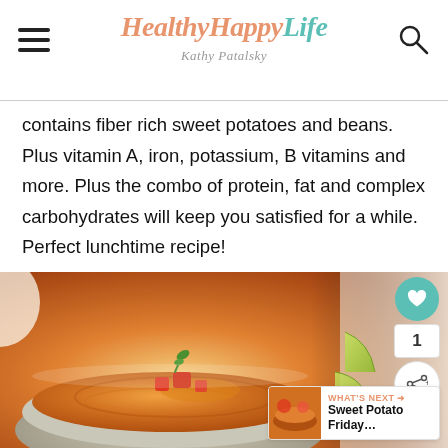HealthyHappyLife — Kathy Patalsky
contains fiber rich sweet potatoes and beans. Plus vitamin A, iron, potassium, B vitamins and more. Plus the combo of protein, fat and complex carbohydrates will keep you satisfied for a while. Perfect lunchtime recipe!
[Figure (photo): A bowl of creamy orange sweet potato hummus topped with diced tomatoes and a green herb sprig, with lime wedges on the side on a white surface. Side UI buttons include a teal heart icon (favorited count: 1) and a share icon. A 'What's Next' thumbnail card shows 'Sweet Potato Friday...']